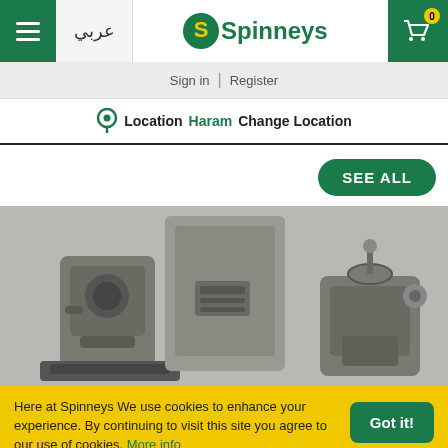Spinneys — عربي | Sign in | Register | Location Haram Change Location
SEE ALL
[Figure (photo): Kitchen appliances on a counter: espresso machine, stainless steel box appliance, and a meat grinder]
Here at Spinneys We use cookies to enhance your experience. By continuing to visit this site you agree to our use of cookies. More info